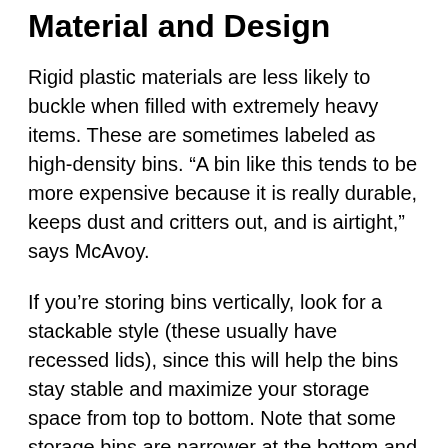Material and Design
Rigid plastic materials are less likely to buckle when filled with extremely heavy items. These are sometimes labeled as high-density bins. “A bin like this tends to be more expensive because it is really durable, keeps dust and critters out, and is airtight,” says McAvoy.
If you’re storing bins vertically, look for a stackable style (these usually have recessed lids), since this will help the bins stay stable and maximize your storage space from top to bottom. Note that some storage bins are narrower at the bottom and wider on top, so they can nest when they’re empty. This is a helpful feature, but if you are lining these up